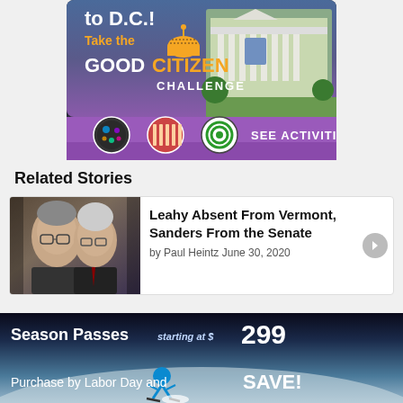[Figure (screenshot): Good Citizen Challenge advertisement banner showing 'to D.C.!' text, 'Take the GOOD CITIZEN CHALLENGE' with White House image and capitol dome icon, and 'SEE ACTIVITIES >>' button with activity icons on purple background]
Related Stories
[Figure (screenshot): Related Stories card showing photo of two elderly men (Leahy and Sanders) with story title 'Leahy Absent From Vermont, Sanders From the Senate' by Paul Heintz June 30, 2020]
Leahy Absent From Vermont, Sanders From the Senate
by Paul Heintz June 30, 2020
[Figure (screenshot): Ski resort advertisement: 'Season Passes starting at $299 - Purchase by Labor Day and SAVE!' with skier image on snowy slope]